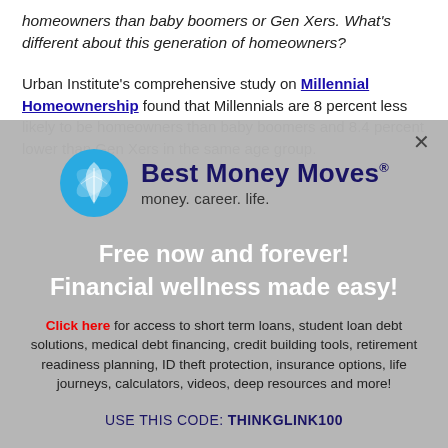homeowners than baby boomers or Gen Xers. What's different about this generation of homeowners?
Urban Institute's comprehensive study on Millennial Homeownership found that Millennials are 8 percent less likely to be homeowners than baby boomers and 8.4 percent lower than Gen Xers in the same age group.
[Figure (logo): Best Money Moves logo with blue leaf/compass icon, brand name in dark navy bold text, tagline 'money. career. life.' below]
Free now and forever!
Financial wellness made easy!
Click here for access to short term loans, student loan debt solutions, medical debt financing, credit building tools, retirement readiness planning, ID theft protection, insurance options, life journeys, calculators, videos, deep resources and more!
USE THIS CODE: THINKGLINK100